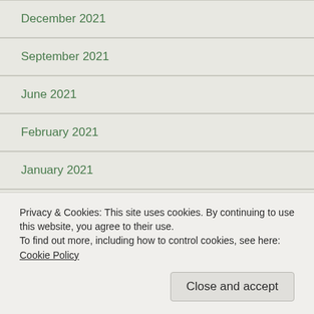December 2021
September 2021
June 2021
February 2021
January 2021
December 2020
October 2020
June 2020
February 2020
January 2020
Privacy & Cookies: This site uses cookies. By continuing to use this website, you agree to their use.
To find out more, including how to control cookies, see here: Cookie Policy
Close and accept